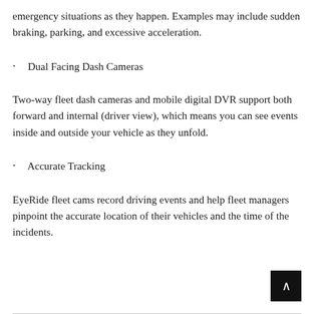emergency situations as they happen. Examples may include sudden braking, parking, and excessive acceleration.
Dual Facing Dash Cameras
Two-way fleet dash cameras and mobile digital DVR support both forward and internal (driver view), which means you can see events inside and outside your vehicle as they unfold.
Accurate Tracking
EyeRide fleet cams record driving events and help fleet managers pinpoint the accurate location of their vehicles and the time of the incidents.